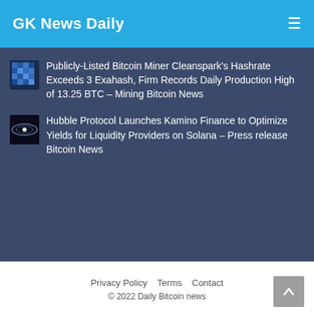GK News Daily
Publicly-Listed Bitcoin Miner Cleanspark's Hashrate Exceeds 3 Exahash, Firm Records Daily Production High of 13.25 BTC – Mining Bitcoin News
Hubble Protocol Launches Kamino Finance to Optimize Yields for Liquidity Providers on Solana – Press release Bitcoin News
Privacy Policy   Terms   Contact
© 2022 Daily Bitcoin news